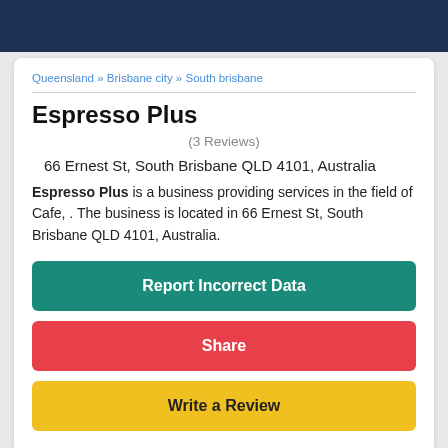Queensland » Brisbane city » South brisbane
Espresso Plus
(3 Reviews)
66 Ernest St, South Brisbane QLD 4101, Australia
Espresso Plus is a business providing services in the field of Cafe, . The business is located in 66 Ernest St, South Brisbane QLD 4101, Australia.
Report Incorrect Data
Share
Write a Review